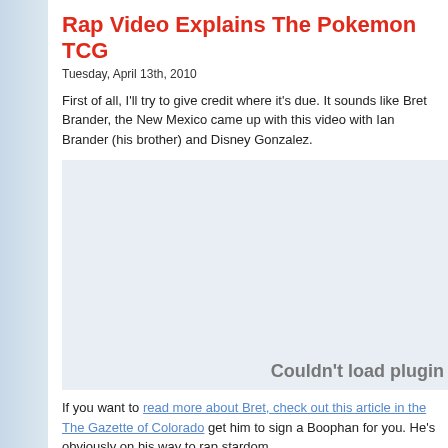Rap Video Explains The Pokemon TCG
Tuesday, April 13th, 2010
First of all, I'll try to give credit where it's due. It sounds like Bret Brander, the New Mexico came up with this video with Ian Brander (his brother) and Disney Gonzalez.
[Figure (other): Embedded video player showing 'Couldn't load plugin' error message]
If you want to read more about Bret, check out this article in the The Gazette of Colorado get him to sign a Boophan for you. He's obviously on his way to rap stardom.